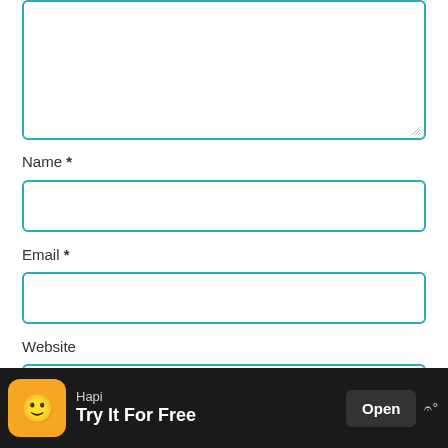[Figure (screenshot): Textarea input field with teal border, partially visible at top of page]
Name *
[Figure (screenshot): Name text input field with teal border]
Email *
[Figure (screenshot): Email text input field with teal border]
Website
[Figure (screenshot): Website text input field with teal border]
Notify me if Marion replies to my comment
[Figure (screenshot): Advertisement banner: Hapi app - Try It For Free, with Open button]